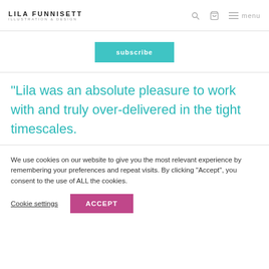LILA FUNNISETT ILLUSTRATION & DESIGN
subscribe
“Lila was an absolute pleasure to work with and truly over-delivered in the tight timescales.
We use cookies on our website to give you the most relevant experience by remembering your preferences and repeat visits. By clicking “Accept”, you consent to the use of ALL the cookies.
Cookie settings   ACCEPT